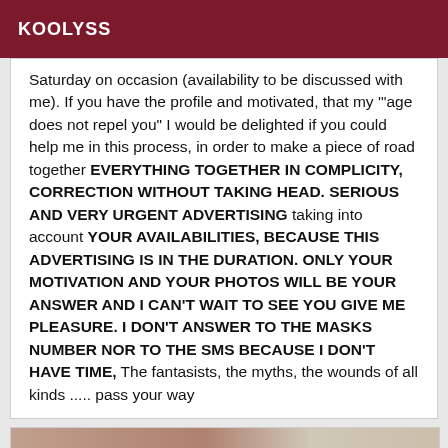KOOLYSS
Saturday on occasion (availability to be discussed with me). If you have the profile and motivated, that my '"age does not repel you" I would be delighted if you could help me in this process, in order to make a piece of road together EVERYTHING TOGETHER IN COMPLICITY, CORRECTION WITHOUT TAKING HEAD. SERIOUS AND VERY URGENT ADVERTISING taking into account YOUR AVAILABILITIES, BECAUSE THIS ADVERTISING IS IN THE DURATION. ONLY YOUR MOTIVATION AND YOUR PHOTOS WILL BE YOUR ANSWER AND I CAN'T WAIT TO SEE YOU GIVE ME PLEASURE. I DON'T ANSWER TO THE MASKS NUMBER NOR TO THE SMS BECAUSE I DON'T HAVE TIME, The fantasists, the myths, the wounds of all kinds ..... pass your way
[Figure (photo): Photo of a person, partially visible, with a Verified badge in the bottom right corner]